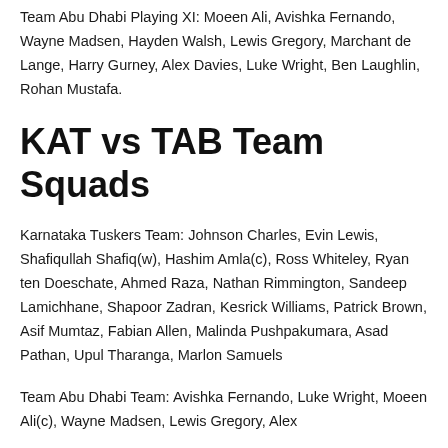Team Abu Dhabi Playing XI: Moeen Ali, Avishka Fernando, Wayne Madsen, Hayden Walsh, Lewis Gregory, Marchant de Lange, Harry Gurney, Alex Davies, Luke Wright, Ben Laughlin, Rohan Mustafa.
KAT vs TAB Team Squads
Karnataka Tuskers Team: Johnson Charles, Evin Lewis, Shafiqullah Shafiq(w), Hashim Amla(c), Ross Whiteley, Ryan ten Doeschate, Ahmed Raza, Nathan Rimmington, Sandeep Lamichhane, Shapoor Zadran, Kesrick Williams, Patrick Brown, Asif Mumtaz, Fabian Allen, Malinda Pushpakumara, Asad Pathan, Upul Tharanga, Marlon Samuels
Team Abu Dhabi Team: Avishka Fernando, Luke Wright, Moeen Ali(c), Wayne Madsen, Lewis Gregory, Alex…